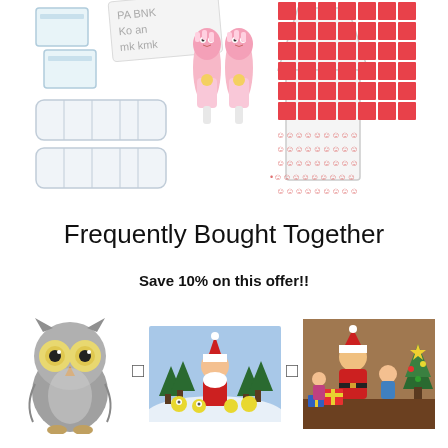[Figure (photo): Diamond painting accessories kit product photo showing zip bags, storage trays, pink cartoon character pens/drills tools, funnel tray, red square rhinestones grid, and smiley face stickers grid on white background]
Frequently Bought Together
Save 10% on this offer!!
[Figure (illustration): Gray cartoon owl icon with big golden eyes]
[Figure (photo): Diamond painting canvas showing Santa Claus with minion characters in a winter snow scene]
[Figure (photo): Diamond painting canvas showing Santa Claus with children in a cozy Christmas indoor scene]